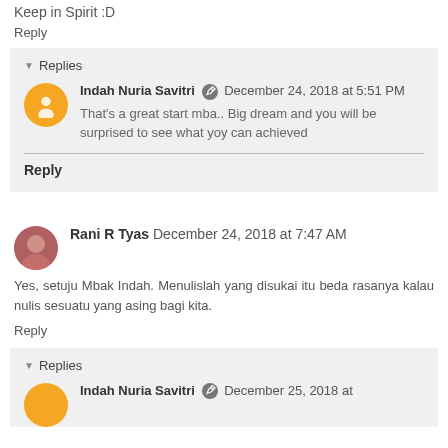Keep in Spirit :D
Reply
Replies
Indah Nuria Savitri  December 24, 2018 at 5:51 PM
That's a great start mba.. Big dream and you will be surprised to see what yoy can achieved
Reply
Rani R Tyas  December 24, 2018 at 7:47 AM
Yes, setuju Mbak Indah. Menulislah yang disukai itu beda rasanya kalau nulis sesuatu yang asing bagi kita.
Reply
Replies
Indah Nuria Savitri  December 25, 2018 at